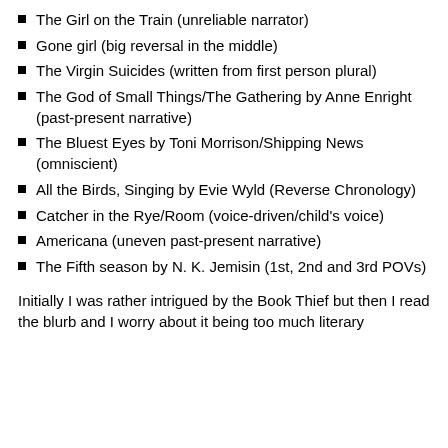The Girl on the Train (unreliable narrator)
Gone girl (big reversal in the middle)
The Virgin Suicides (written from first person plural)
The God of Small Things/The Gathering by Anne Enright  (past-present narrative)
The Bluest Eyes by Toni Morrison/Shipping News (omniscient)
All the Birds, Singing by Evie Wyld (Reverse Chronology)
Catcher in the Rye/Room (voice-driven/child's voice)
Americana (uneven past-present narrative)
The Fifth season by N. K. Jemisin (1st, 2nd and 3rd POVs)
Initially I was rather intrigued by the Book Thief but then I read the blurb and I worry about it being too much literary fiction and if it was too literary, it might not be the right...